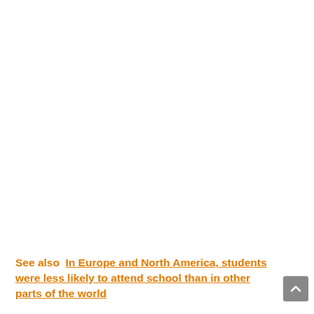See also  In Europe and North America, students were less likely to attend school than in other parts of the world